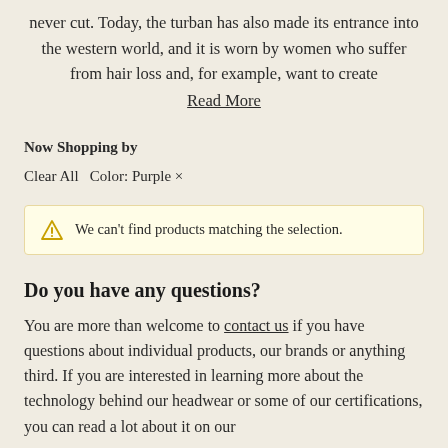never cut. Today, the turban has also made its entrance into the western world, and it is worn by women who suffer from hair loss and, for example, want to create
Read More
Now Shopping by
Clear All   Color: Purple ×
We can't find products matching the selection.
Do you have any questions?
You are more than welcome to contact us if you have questions about individual products, our brands or anything third. If you are interested in learning more about the technology behind our headwear or some of our certifications, you can read a lot about it on our